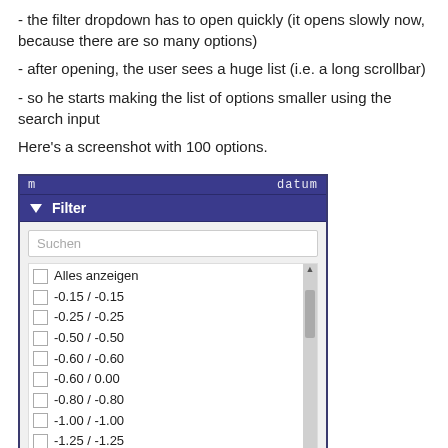- the filter dropdown has to open quickly (it opens slowly now, because there are so many options)
- after opening, the user sees a huge list (i.e. a long scrollbar)
- so he starts making the list of options smaller using the search input
Here's a screenshot with 100 options.
[Figure (screenshot): Screenshot of a filter dropdown UI with a dark blue header bar showing 'Filter' with a funnel icon, a search input labeled 'Suchen', and a scrollable list of options including 'Alles anzeigen', '-0.15 / -0.15', '-0.25 / -0.25', '-0.50 / -0.50', '-0.60 / -0.60', '-0.60 / 0.00', '-0.80 / -0.80', '-1.00 / -1.00', '-1.25 / -1.25', '-1.30 / -1.30', with a scrollbar on the right and a top bar showing 'm' and 'datum'.]